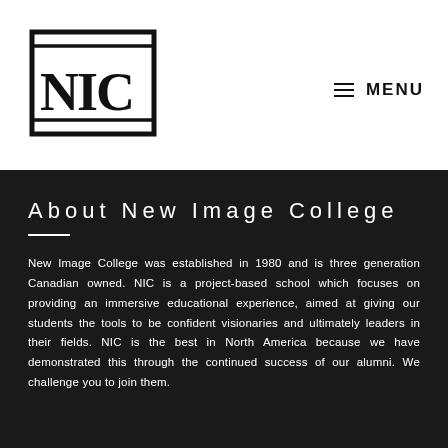[Figure (logo): NIC (New Image College) logo — bold black serif letters N, I, C with rectangular border]
☰ MENU
About New Image College
New Image College was established in 1980 and is three generation Canadian owned. NIC is a project-based school which focuses on providing an immersive educational experience, aimed at giving our students the tools to be confident visionaries and ultimately leaders in their fields. NIC is the best in North America because we have demonstrated this through the continued success of our alumni. We challenge you to join them.